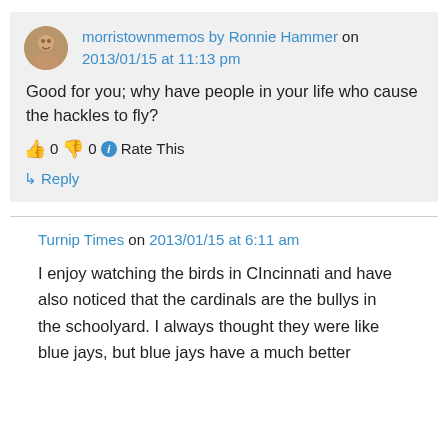morristownmemos by Ronnie Hammer on 2013/01/15 at 11:13 pm
Good for you; why have people in your life who cause the hackles to fly?
👍 0 👎 0 ℹ Rate This
↳ Reply
Turnip Times on 2013/01/15 at 6:11 am
I enjoy watching the birds in CIncinnati and have also noticed that the cardinals are the bullys in the schoolyard. I always thought they were like blue jays, but blue jays have a much better